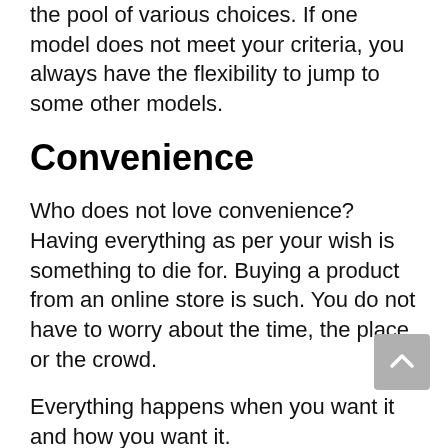the pool of various choices. If one model does not meet your criteria, you always have the flexibility to jump to some other models.
Convenience
Who does not love convenience? Having everything as per your wish is something to die for. Buying a product from an online store is such. You do not have to worry about the time, the place, or the crowd.
Everything happens when you want it and how you want it.
How To Choose